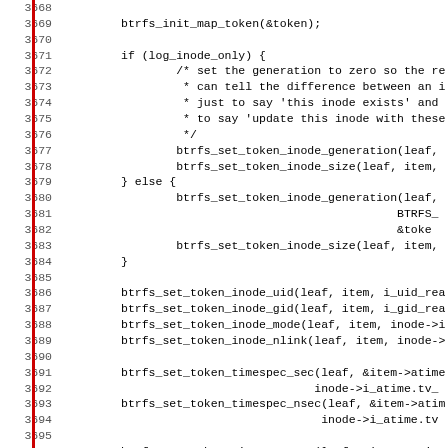Source code listing, lines 3668-3699, btrfs inode logging function